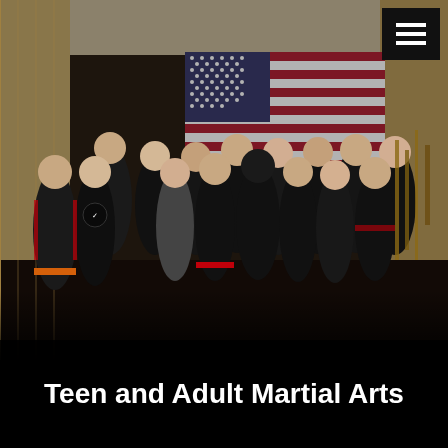[Figure (photo): Group photo of teens and adults in martial arts uniforms (mostly black with red accents) standing in front of a large American flag hung on the wall of a martial arts studio. Weapons are visible on the wall to the right.]
Teen and Adult Martial Arts